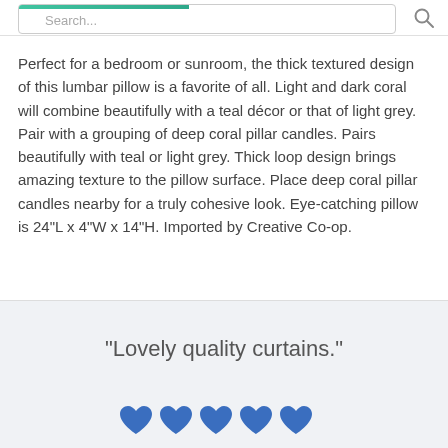Search...
Perfect for a bedroom or sunroom, the thick textured design of this lumbar pillow is a favorite of all. Light and dark coral will combine beautifully with a teal décor or that of light grey. Pair with a grouping of deep coral pillar candles. Pairs beautifully with teal or light grey. Thick loop design brings amazing texture to the pillow surface. Place deep coral pillar candles nearby for a truly cohesive look. Eye-catching pillow is 24"L x 4"W x 14"H. Imported by Creative Co-op.
“Lovely quality curtains.”
[Figure (illustration): Five blue heart icons in a row representing a 5-star rating]